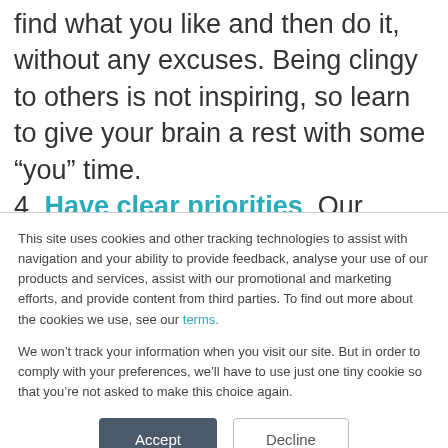find what you like and then do it, without any excuses. Being clingy to others is not inspiring, so learn to give your brain a rest with some “you” time.
4. Have clear priorities. Our capacity to
This site uses cookies and other tracking technologies to assist with navigation and your ability to provide feedback, analyse your use of our products and services, assist with our promotional and marketing efforts, and provide content from third parties. To find out more about the cookies we use, see our terms.
We won’t track your information when you visit our site. But in order to comply with your preferences, we’ll have to use just one tiny cookie so that you’re not asked to make this choice again.